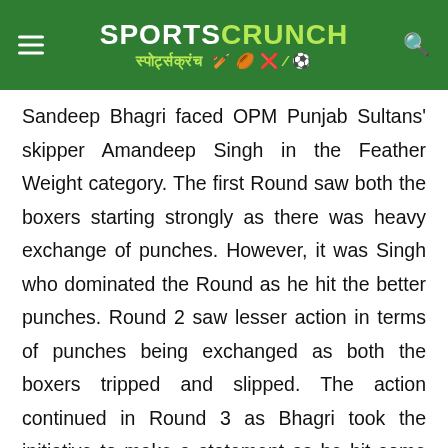SPORTSCRUNCH स्पोर्ट्सक्रंच
Sandeep Bhagri faced OPM Punjab Sultans' skipper Amandeep Singh in the Feather Weight category. The first Round saw both the boxers starting strongly as there was heavy exchange of punches. However, it was Singh who dominated the Round as he hit the better punches. Round 2 saw lesser action in terms of punches being exchanged as both the boxers tripped and slipped. The action continued in Round 3 as Bhagri took the initiative to make a statement as he hit some barging blows on Singh to put the tie on equal terms. Both the boxers had to go for it in the fourth Round to get the win for their team. It was 21-year-old Bhagri who was the